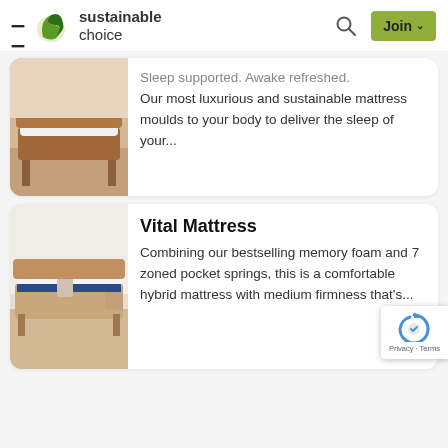sustainable choice — Join
Sleep supported. Awake refreshed. Our most luxurious and sustainable mattress moulds to your body to deliver the sleep of your...
Vital Mattress
Combining our bestselling memory foam and 7 zoned pocket springs, this is a comfortable hybrid mattress with medium firmness that's...